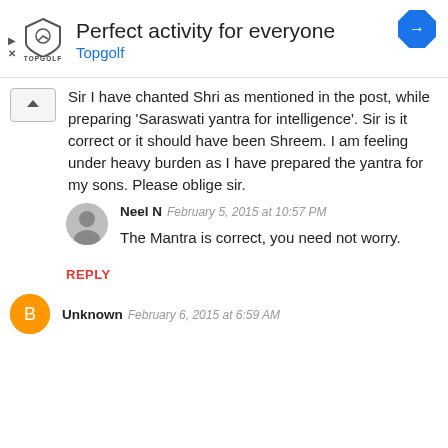[Figure (screenshot): Advertisement banner for Topgolf. Shows Topgolf logo, text 'Perfect activity for everyone' and 'Topgolf', with a blue navigation arrow icon on the right.]
Sir I have chanted Shri as mentioned in the post, while preparing 'Saraswati yantra for intelligence'. Sir is it correct or it should have been Shreem. I am feeling under heavy burden as I have prepared the yantra for my sons. Please oblige sir.
Neel N  February 5, 2015 at 10:57 PM
The Mantra is correct, you need not worry.
REPLY
Unknown  February 6, 2015 at 6:59 AM